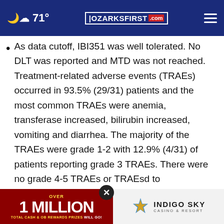71° | OZARKSFIRST.com
As data cutoff, IBI351 was well tolerated. No DLT was reported and MTD was not reached. Treatment-related adverse events (TRAEs) occurred in 93.5% (29/31) patients and the most common TRAEs were anemia, transferase increased, bilirubin increased, vomiting and diarrhea. The majority of the TRAEs were grade 1-2 with 12.9% (4/31) of patients reporting grade 3 TRAEs. There were no grade 4-5 TRAEs or TRAEs leading to
[Figure (infographic): Advertisement banner: 'OVER 1 MILLION TOTAL CASH & OB REWARDS PRIZES WILL GO!' with Indigo Sky Casino & Resort logo]